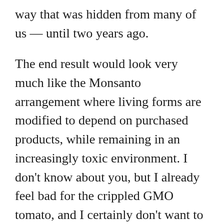way that was hidden from many of us — until two years ago.
The end result would look very much like the Monsanto arrangement where living forms are modified to depend on purchased products, while remaining in an increasingly toxic environment. I don't know about you, but I already feel bad for the crippled GMO tomato, and I certainly don't want to turn into something similar.
The Fear of Missing Out